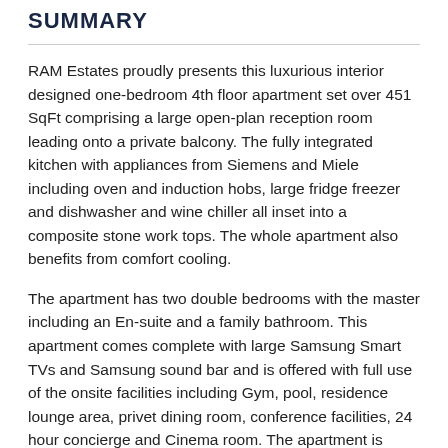SUMMARY
RAM Estates proudly presents this luxurious interior designed one-bedroom 4th floor apartment set over 451 SqFt comprising a large open-plan reception room leading onto a private balcony. The fully integrated kitchen with appliances from Siemens and Miele including oven and induction hobs, large fridge freezer and dishwasher and wine chiller all inset into a composite stone work tops. The whole apartment also benefits from comfort cooling.
The apartment has two double bedrooms with the master including an En-suite and a family bathroom. This apartment comes complete with large Samsung Smart TVs and Samsung sound bar and is offered with full use of the onsite facilities including Gym, pool, residence lounge area, privet dining room, conference facilities, 24 hour concierge and Cinema room. The apartment is ready to move into with internet already